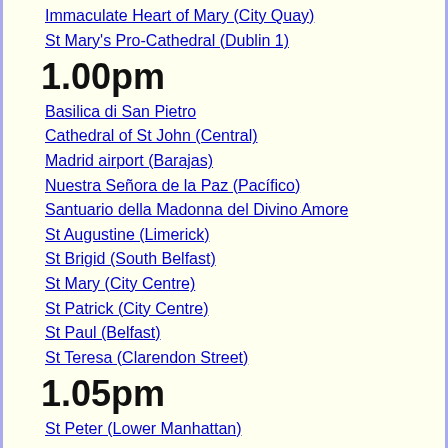Immaculate Heart of Mary (City Quay)
St Mary's Pro-Cathedral (Dublin 1)
1.00pm
Basilica di San Pietro
Cathedral of St John (Central)
Madrid airport (Barajas)
Nuestra Señora de la Paz (Pacífico)
Santuario della Madonna del Divino Amore
St Augustine (Limerick)
St Brigid (South Belfast)
St Mary (City Centre)
St Patrick (City Centre)
St Paul (Belfast)
St Teresa (Clarendon Street)
1.05pm
St Peter (Lower Manhattan)
1.10pm
All Saints (Ballymena)